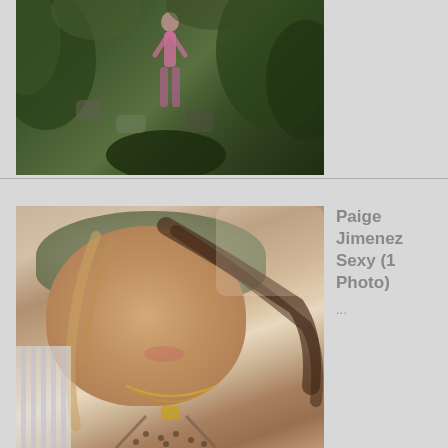[Figure (photo): Person in pink outfit standing in a lush tropical forest with rocks and a stream]
[Figure (photo): Close-up selfie of Paige Jimenez wearing a bucket hat and animal print bikini top, lying down outdoors]
Paige Jimenez Sexy (1 Photo)
...